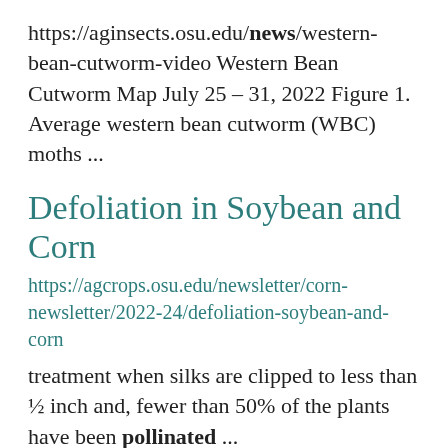https://aginsects.osu.edu/news/western-bean-cutworm-video Western Bean Cutworm Map July 25 – 31, 2022 Figure 1. Average western bean cutworm (WBC) moths ...
Defoliation in Soybean and Corn
https://agcrops.osu.edu/newsletter/corn-newsletter/2022-24/defoliation-soybean-and-corn
treatment when silks are clipped to less than ½ inch and, fewer than 50% of the plants have been pollinated ...
Building an Entrepreneur Friendly Community ...